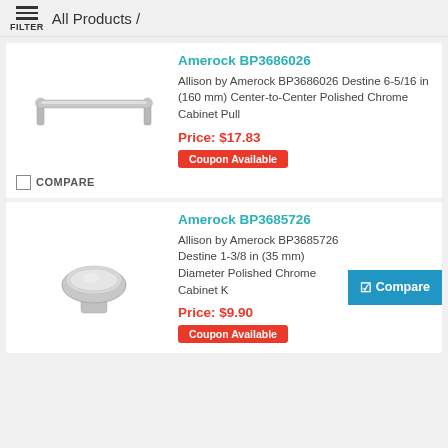All Products /
Amerock BP3686026
[Figure (photo): Amerock BP3686026 cabinet pull hardware - a straight bar pull with cylindrical bar and end posts, brushed chrome finish]
Allison by Amerock BP3686026 Destine 6-5/16 in (160 mm) Center-to-Center Polished Chrome Cabinet Pull
Price: $17.83
Coupon Available
COMPARE
Amerock BP3685726
[Figure (photo): Amerock BP3685726 cabinet knob hardware - a round disc-shaped knob with polished chrome finish]
Allison by Amerock BP3685726 Destine 1-3/8 in (35 mm) Diameter Polished Chrome Cabinet Knob
Price: $9.90
Coupon Available
Compare